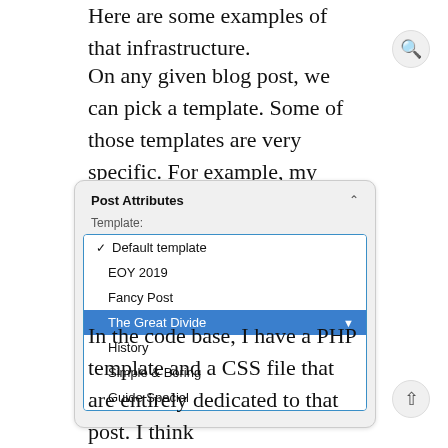Here are some examples of that infrastructure.
On any given blog post, we can pick a template. Some of those templates are very specific. For example, my essay The Great Divide is a template all to itself.
[Figure (screenshot): A WordPress Post Attributes panel showing a dropdown template selector with options: Default template (checked), EOY 2019, Fancy Post, The Great Divide (highlighted in blue), History, Simple & Boring, Guide Special.]
In the code base, I have a PHP template and a CSS file that are entirely dedicated to that post. I think